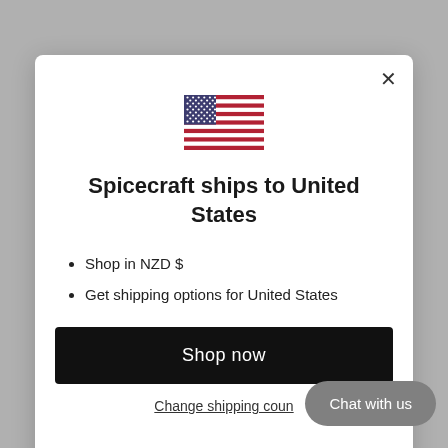[Figure (illustration): US flag emoji/icon centered in modal]
Spicecraft ships to United States
Shop in NZD $
Get shipping options for United States
Shop now
Change shipping country
Chat with us